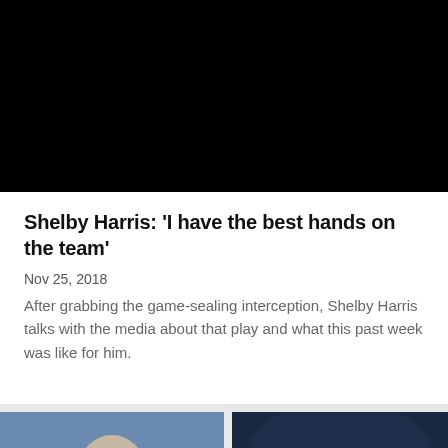[Figure (photo): Black video thumbnail / placeholder at top of article card]
Shelby Harris: 'I have the best hands on the team'
Nov 25, 2018
After grabbing the game-sealing interception, Shelby Harris talks with the media about that play and what this past week was like for him.
[Figure (photo): Sports photo showing a person wearing a headset and cap, blurred crowd in background]
[Figure (photo): Dark blue background with 'POWER' text and 'xfi' branding logo]